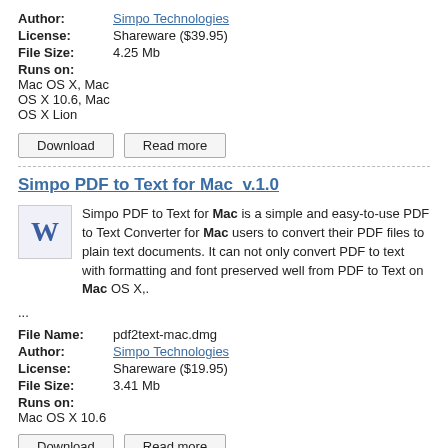Author: Simpo Technologies
License: Shareware ($39.95)
File Size: 4.25 Mb
Runs on:
Mac OS X, Mac OS X 10.6, Mac OS X Lion
Download   Read more
Simpo PDF to Text for Mac  v.1.0
Simpo PDF to Text for Mac is a simple and easy-to-use PDF to Text Converter for Mac users to convert their PDF files to plain text documents. It can not only convert PDF to text with formatting and font preserved well from PDF to Text on Mac OS X,.
...
File Name: pdf2text-mac.dmg
Author: Simpo Technologies
License: Shareware ($19.95)
File Size: 3.41 Mb
Runs on:
Mac OS X 10.6
Download   Read more